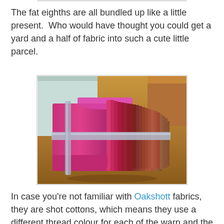The fat eighths are all bundled up like a little present.  Who would have thought you could get a yard and a half of fabric into such a cute little parcel.
[Figure (photo): A bundle of fat eighth fabrics in shades of pink, red, magenta, and brown, tied with a light blue/grey ribbon, sitting on a wooden surface. The fabrics are stacked and folded, showing their edges fanned out on the right side.]
In case you're not familiar with Oakshott fabrics, they are shot cottons, which means they use a different thread colour for each of the warp and the weft of the fabric.  This bundle is called Ruby Red and consists of fabrics which are all...